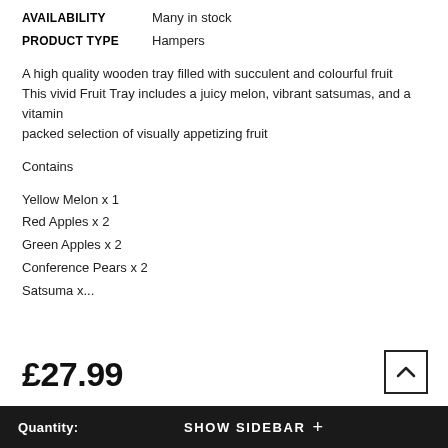AVAILABILITY    Many in stock
PRODUCT TYPE    Hampers
A high quality wooden tray filled with succulent and colourful fruit This vivid Fruit Tray includes a juicy melon, vibrant satsumas, and a vitamin packed selection of visually appetizing fruit
Contains
Yellow Melon x 1
Red Apples x 2
Green Apples x 2
Conference Pears x 2
Satsuma x...
£27.99
Quantity:    SHOW SIDEBAR +